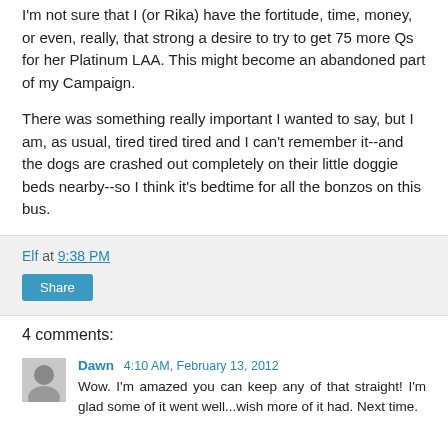I'm not sure that I (or Rika) have the fortitude, time, money, or even, really, that strong a desire to try to get 75 more Qs for her Platinum LAA. This might become an abandoned part of my Campaign.
There was something really important I wanted to say, but I am, as usual, tired tired tired and I can't remember it--and the dogs are crashed out completely on their little doggie beds nearby--so I think it's bedtime for all the bonzos on this bus.
Elf at 9:38 PM
Share
4 comments:
Dawn 4:10 AM, February 13, 2012
Wow. I'm amazed you can keep any of that straight! I'm glad some of it went well...wish more of it had. Next time.